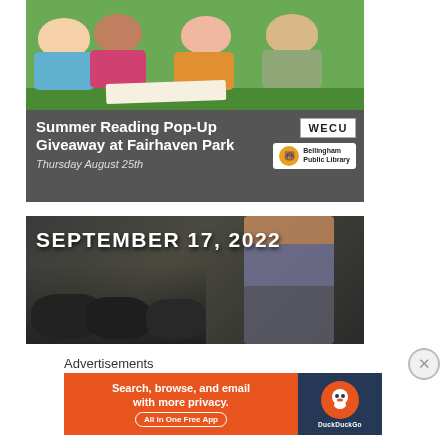[Figure (photo): Advertisement for Summer Reading Pop-Up Giveaway at Fairhaven Park. Top half shows children reading on grass. Bottom half has dark gray background with white bold text 'Summer Reading Pop-Up Giveaway at Fairhaven Park', italic text 'Thursday August 25th', WECU logo, and Bellingham Public Library logo.]
[Figure (photo): Advertisement image showing person standing among black and white pigs (piglets), with bold white text overlay 'SEPTEMBER 17, 2022'.]
Advertisements
[Figure (infographic): DuckDuckGo advertisement banner with orange background. Text: 'Search, browse, and email with more privacy. All in One Free App'. DuckDuckGo logo on dark blue right panel.]